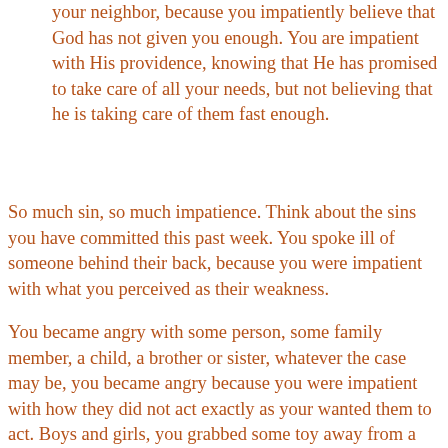your neighbor, because you impatiently believe that God has not given you enough. You are impatient with His providence, knowing that He has promised to take care of all your needs, but not believing that he is taking care of them fast enough.
So much sin, so much impatience. Think about the sins you have committed this past week. You spoke ill of someone behind their back, because you were impatient with what you perceived as their weakness.
You became angry with some person, some family member, a child, a brother or sister, whatever the case may be, you became angry because you were impatient with how they did not act exactly as your wanted them to act. Boys and girls, you grabbed some toy away from a brother or sister because you were too impatient to wait